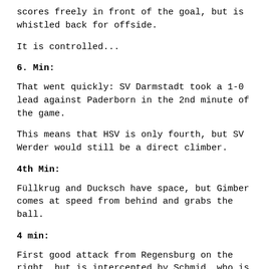scores freely in front of the goal, but is whistled back for offside.
It is controlled...
6. Min:
That went quickly: SV Darmstadt took a 1-0 lead against Paderborn in the 2nd minute of the game.
This means that HSV is only fourth, but SV Werder would still be a direct climber.
4th Min:
Füllkrug and Ducksch have space, but Gimber comes at speed from behind and grabs the ball.
4 min:
First good attack from Regensburg on the right, but is intercepted by Schmid, who is